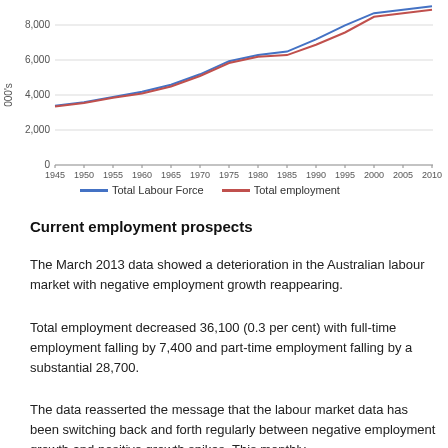[Figure (line-chart): ]
Current employment prospects
The March 2013 data showed a deterioration in the Australian labour market with negative employment growth reappearing.
Total employment decreased 36,100 (0.3 per cent) with full-time employment falling by 7,400 and part-time employment falling by a substantial 28,700.
The data reasserted the message that the labour market data has been switching back and forth regularly between negative employment growth and positive growth spikes. This monthly